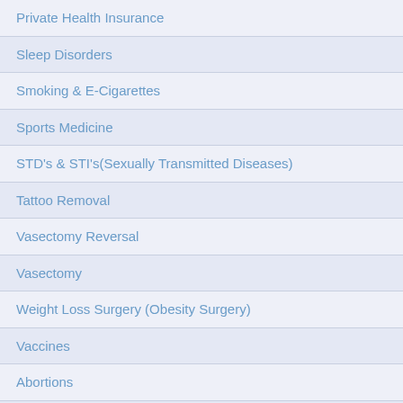Private Health Insurance
Sleep Disorders
Smoking & E-Cigarettes
Sports Medicine
STD's & STI's(Sexually Transmitted Diseases)
Tattoo Removal
Vasectomy Reversal
Vasectomy
Weight Loss Surgery (Obesity Surgery)
Vaccines
Abortions
Latest UK Health News
SELECT A LOCATION
[Figure (map): Partial map of the UK showing Scotland region in pink/purple]